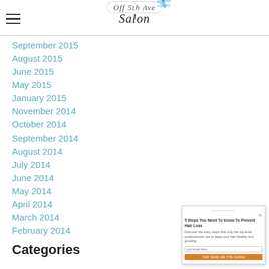Off 5th Ave Salon
September 2015
August 2015
June 2015
May 2015
January 2015
November 2014
October 2014
September 2014
August 2014
July 2014
June 2014
May 2014
April 2014
March 2014
February 2014
Categories
[Figure (screenshot): Popup overlay: '5 Steps You Need To Know To Prevent Hair Loss' with text, email input field, and orange subscribe button]